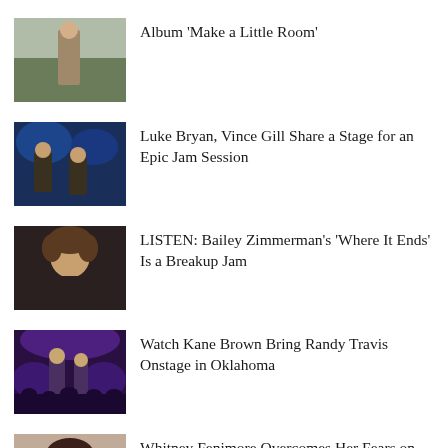[Figure (photo): Man standing outdoors in a field wearing a brown jacket]
Album ‘Make a Little Room’
[Figure (photo): Two musicians on stage with guitars under blue lights]
Luke Bryan, Vince Gill Share a Stage for an Epic Jam Session
[Figure (photo): Young man with curly hair in dark setting]
LISTEN: Bailey Zimmerman’s ‘Where It Ends’ Is a Breakup Jam
[Figure (photo): Concert stage with performers and purple lights, crowd visible]
Watch Kane Brown Bring Randy Travis Onstage in Oklahoma
[Figure (photo): Woman with dark hair looking at camera against neutral background]
Whitney Fenimore Overcomes Her Fears on ‘Holding Hands’ [LISTEN]